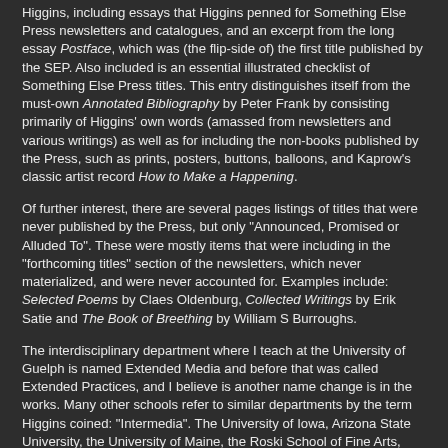Higgins, including essays that Higgins penned for Something Else Press newsletters and catalogues, and an excerpt from the long essay Postface, which was (the flip-side of) the first title published by the SEP. Also included is an essential illustrated checklist of Something Else Press titles. This entry distinguishes itself from the must-own Annotated Bibliography by Peter Frank by consisting primarily of Higgins' own words (amassed from newsletters and various writings) as well as for including the non-books published by the Press, such as prints, posters, buttons, balloons, and Kaprow's classic artist record How to Make a Happening.
Of further interest, there are several pages listings of titles that were never published by the Press, but only "Announced, Promised or Alluded To". These were mostly items that were including in the "forthcoming titles" section of the newsletters, which never materialized, and were never accounted for. Examples include: Selected Poems by Claes Oldenburg, Collected Writings by Erik Satie and The Book of Breething by William S Burroughs.
The interdisciplinary department where I teach at the University of Guelph is named Extended Media and before that was called Extended Practices, and I believe is another name change is in the works. Many other schools refer to similar departments by the term Higgins coined: "Intermedia". The University of Iowa, Arizona State University, the University of Maine, the Roski School of Fine Arts, Concordia University in Montreal, the Herron School of Art and Design, The University of Oregon, the Edinburgh College of Art, and recently York University in Toronto all offer degrees in Intermedia.
Higgins' 1966 essay Intermedia is included in Selected Writings, reprinted in facsimile like much of the writings here: